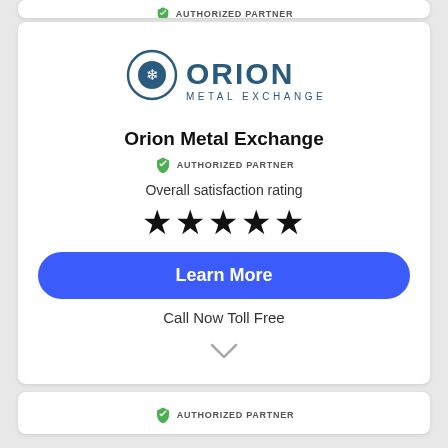[Figure (logo): Orion Metal Exchange logo with shield/tree icon and text ORION METAL EXCHANGE in teal/dark blue]
Orion Metal Exchange
AUTHORIZED PARTNER
Overall satisfaction rating
[Figure (other): Five black filled star icons representing 5-star rating]
Learn More
Call Now Toll Free
[Figure (other): Chevron/down arrow icon]
[Figure (other): Green shield with checkmark — AUTHORIZED PARTNER badge at bottom of page]